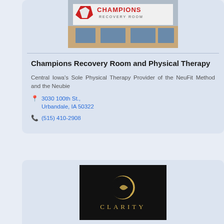[Figure (photo): Champions Recovery Room and Physical Therapy building exterior sign photo]
Champions Recovery Room and Physical Therapy
Central Iowa's Sole Physical Therapy Provider of the NeuFit Method and the Neubie
3030 100th St., Urbandale, IA 50322
(515) 410-2908
[Figure (logo): Clarity logo — gold circular C mark with CLARITY text on black background]